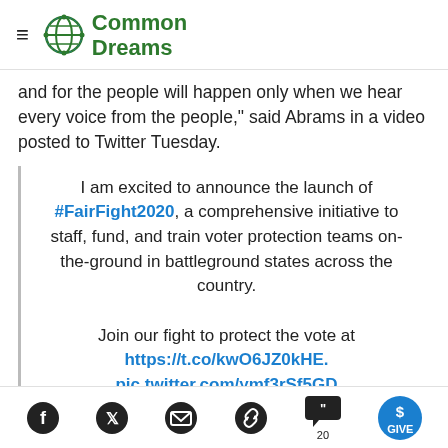Common Dreams
and for the people will happen only when we hear every voice from the people," said Abrams in a video posted to Twitter Tuesday.
I am excited to announce the launch of #FairFight2020, a comprehensive initiative to staff, fund, and train voter protection teams on-the-ground in battleground states across the country.

Join our fight to protect the vote at https://t.co/kwO6JZ0kHE. pic.twitter.com/ymf3rSf5GD
Facebook, Twitter, Email, Link, Comments 20, GIVE